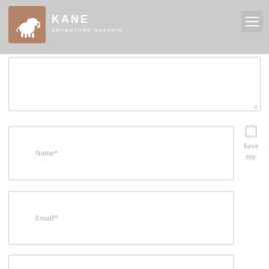KANE ADVENTURE SAFARIS
[Figure (screenshot): Comment textarea field (empty)]
[Figure (screenshot): Name input field with placeholder text 'Name*' and a checkbox labeled 'Save my']
[Figure (screenshot): Email input field with placeholder text 'Email*']
[Figure (screenshot): Partial website input field (cut off at bottom)]